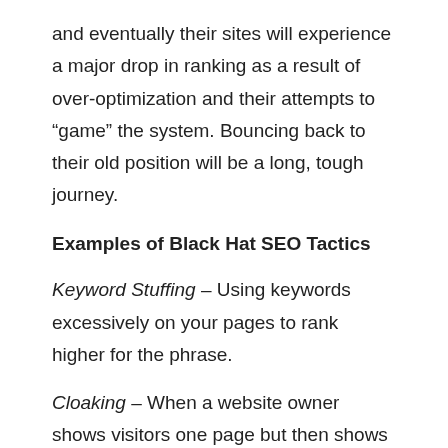and eventually their sites will experience a major drop in ranking as a result of over-optimization and their attempts to “game” the system. Bouncing back to their old position will be a long, tough journey.
Examples of Black Hat SEO Tactics
Keyword Stuffing – Using keywords excessively on your pages to rank higher for the phrase.
Cloaking – When a website owner shows visitors one page but then shows something else to search engines.